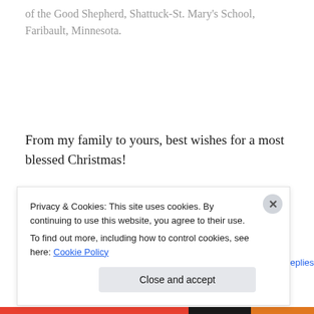of the Good Shepherd, Shattuck-St. Mary's School, Faribault, Minnesota.
From my family to yours, best wishes for a most blessed Christmas!
Copyright 2014 Audrey Kletscher Helbling
December 25, 2014   10 Replies
Privacy & Cookies: This site uses cookies. By continuing to use this website, you agree to their use.
To find out more, including how to control cookies, see here: Cookie Policy
Close and accept